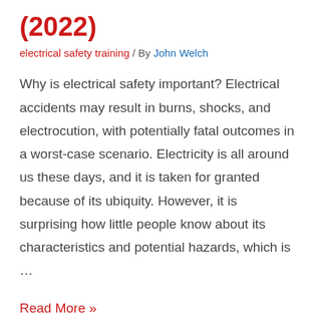(2022)
electrical safety training / By John Welch
Why is electrical safety important? Electrical accidents may result in burns, shocks, and electrocution, with potentially fatal outcomes in a worst-case scenario. Electricity is all around us these days, and it is taken for granted because of its ubiquity. However, it is surprising how little people know about its characteristics and potential hazards, which is …
Read More »